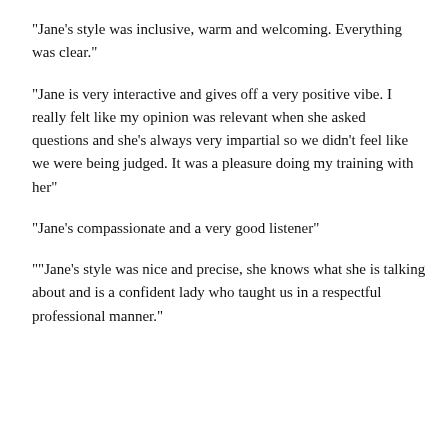“Jane’s style was inclusive, warm and welcoming. Everything was clear.”
“Jane is very interactive and gives off a very positive vibe. I really felt like my opinion was relevant when she asked questions and she’s always very impartial so we didn’t feel like we were being judged. It was a pleasure doing my training with her”
“Jane’s compassionate and a very good listener”
““Jane’s style was nice and precise, she knows what she is talking about and is a confident lady who taught us in a respectful professional manner.”